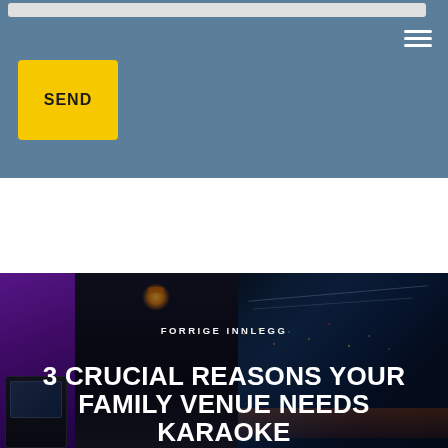[Figure (screenshot): Blue-grey website header section with a search bar at top, hamburger menu icon at top right, and a yellow SEND button on the left side]
SEND
[Figure (photo): Karaoke venue interior with purple-lit brick wall on left, warm wall sconce lights in center, and a colorful city skyline mural with blue and orange tones on the right side]
FORRIGE INNLEGG
3 CRUCIAL REASONS YOUR FAMILY VENUE NEEDS KARAOKE